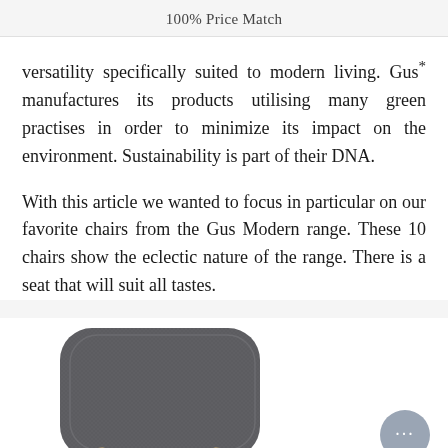100% Price Match
versatility specifically suited to modern living. Gus* manufactures its products utilising many green practises in order to minimize its impact on the environment. Sustainability is part of their DNA.
With this article we wanted to focus in particular on our favorite chairs from the Gus Modern range. These 10 chairs show the eclectic nature of the range. There is a seat that will suit all tastes.
[Figure (photo): Bottom portion of a modern upholstered chair with dark grey fabric seat and light wood frame legs, partially visible from below. A grey chat support bubble with ellipsis dots is visible in the bottom right corner.]